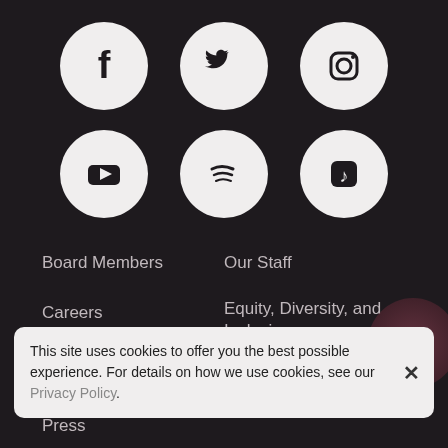[Figure (illustration): Six social media icon circles in two rows: Facebook, Twitter, Instagram (top row); YouTube, Spotify, Apple Music (bottom row)]
Board Members
Our Staff
Careers
Equity, Diversity, and Inclusion
Auditions
Corporate Governance
Press
This site uses cookies to offer you the best possible experience. For details on how we use cookies, see our Privacy Policy.